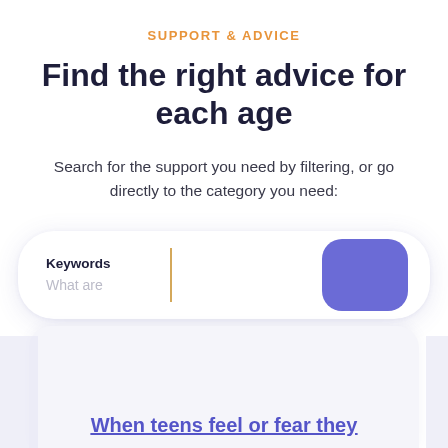SUPPORT & ADVICE
Find the right advice for each age
Search for the support you need by filtering, or go directly to the category you need:
[Figure (screenshot): Search bar UI element with 'Keywords' label, a vertical gold divider, 'What are' placeholder text, and a purple square search button on the right]
When teens feel or fear they